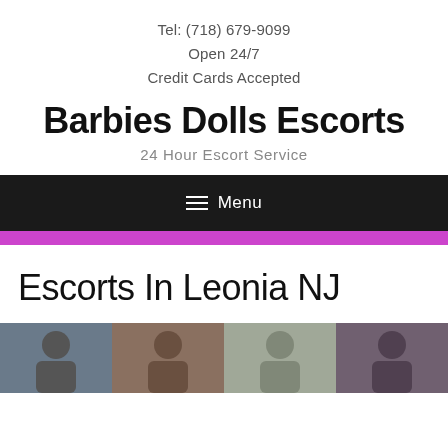Tel: (718) 679-9099
Open 24/7
Credit Cards Accepted
Barbies Dolls Escorts
24 Hour Escort Service
☰ Menu
Escorts In Leonia NJ
[Figure (photo): Four photo thumbnails of escort listings, cropped at bottom of page]